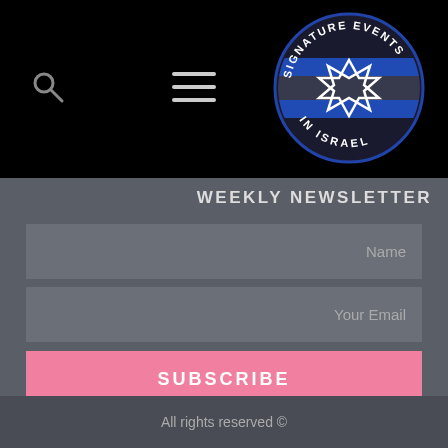[Figure (logo): Circular logo for Signature Events in Israel featuring a Star of David on a blue and white striped background with text around the border]
WEEKLY NEWSLETTER
Name
Your Email
SUBSCRIBE
All rights reserved ©